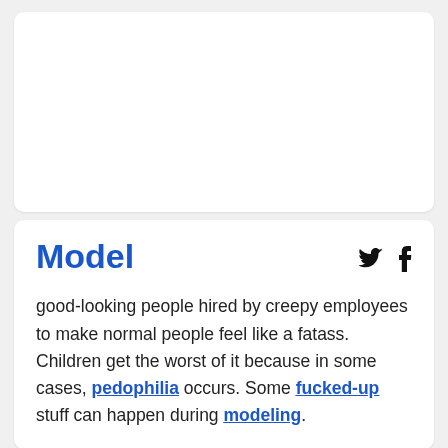[Figure (other): Empty white card placeholder at top of page]
Model
good-looking people hired by creepy employees to make normal people feel like a fatass. Children get the worst of it because in some cases, pedophilia occurs. Some fucked-up stuff can happen during modeling.